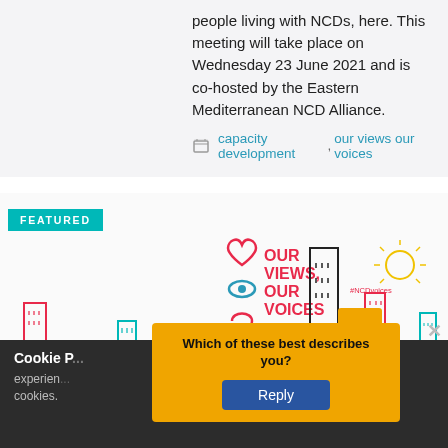people living with NCDs, here. This meeting will take place on Wednesday 23 June 2021 and is co-hosted by the Eastern Mediterranean NCD Alliance.
capacity development, our views our voices
[Figure (illustration): FEATURED banner with 'OUR VIEWS, OUR VOICES - An initiative by the NCD Alliance and people living with NCDs' illustration showing a colorful cartoon cityscape with diverse icons representing people, health, and community. Hashtag #NCDvoices visible.]
Cookie P... your experience... use of cookies.
Which of these best describes you?
Reply